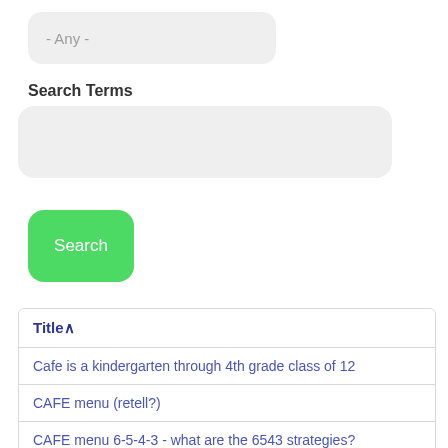- Any -
Search Terms
[Figure (screenshot): Search input text field (empty, gray rounded rectangle)]
Search
| Title ∧ |
| --- |
| Cafe is a kindergarten through 4th grade class of 12 |
| CAFE menu (retell?) |
| CAFE menu 6-5-4-3 - what are the 6543 strategies? |
| CAFE Menu for TEKS |